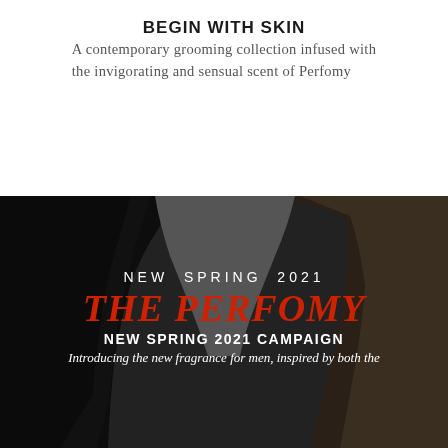BEGIN WITH SKIN
A contemporary grooming collection infused with the invigorating and sensual scent of Perfomy
[Figure (photo): Dark photograph showing two people facing each other, heads close together, with dark hair visible against a dark background. Overlaid text reads: NEW SPRING 2021, THE PERFOMY, NEW SPRING 2021 CAMPAIGN, Introducing the new fragrance for men, inspired by both the...]
NEW SPRING 2021
THE PERFOMY
NEW SPRING 2021 CAMPAIGN
Introducing the new fragrance for men, inspired by both the